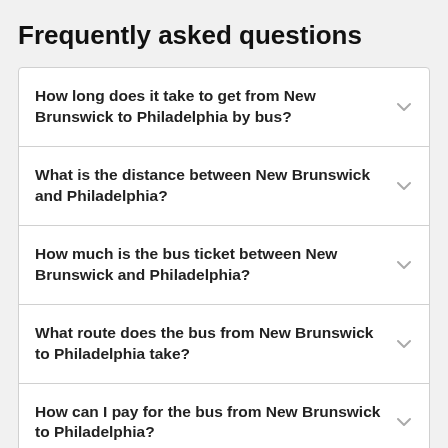Frequently asked questions
How long does it take to get from New Brunswick to Philadelphia by bus?
What is the distance between New Brunswick and Philadelphia?
How much is the bus ticket between New Brunswick and Philadelphia?
What route does the bus from New Brunswick to Philadelphia take?
How can I pay for the bus from New Brunswick to Philadelphia?
Where can I see if my bus from New Brunswick to